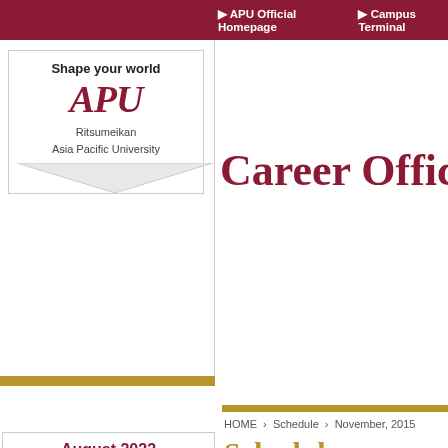APU Official Homepage | Campus Terminal
[Figure (logo): APU Ritsumeikan Asia Pacific University logo with tagline 'Shape your world']
Career Offic...
HOME > Schedule > November, 2015
Schedule
| Sn | Mo | Tu | We | Th | Fr | Sa |
| --- | --- | --- | --- | --- | --- | --- |
|  | 1 | 2 | 3 | 4 | 5 | 6 |
| 7 | 8 | 9 | 10 | 11 | 12 | 13 |
| 14 | 15 | 16 | 17 | 18 | 19 | 20 |
| 21 | 22 | 23 | 24 | 25 | 26 | 27 |
| 28 | 29 | 30 | 31 |  |  |  |
November, 2015
Dec 21 — JOB FAIR 2...
| Time/date: | We... |
| For: | All... |